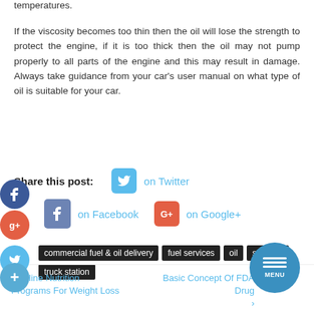temperatures.
If the viscosity becomes too thin then the oil will lose the strength to protect the engine, if it is too thick then the oil may not pump properly to all parts of the engine and this may result in damage. Always take guidance from your car's user manual on what type of oil is suitable for your car.
Share this post:   on Twitter   on Facebook   on Google+
commercial fuel & oil delivery
fuel services
oil services
truck station
‹ Online Nutrition Programs For Weight Loss
Basic Concept Of FDA Drug ›